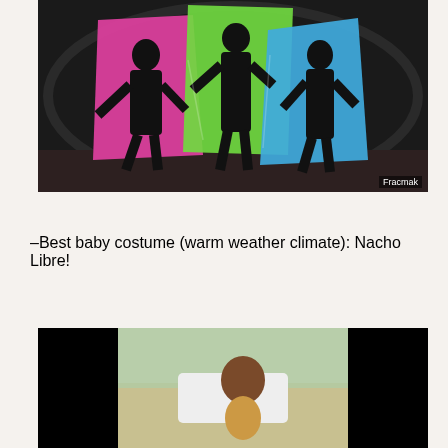[Figure (photo): Three people dressed in black standing in a dark tunnel/corridor, each holding large colorful poster boards (pink, green, and blue) creating silhouette cutout effects. Photo watermarked 'Fracmak'.]
–Best baby costume (warm weather climate): Nacho Libre!
[Figure (photo): Partial photo of a child outdoors, partially cropped, with black borders on left and right sides.]